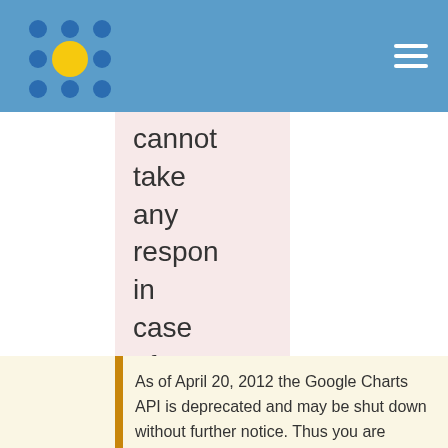Navigation bar with logo and hamburger menu
cannot take any respon in case of any misuse resulti from this!
As of April 20, 2012 the Google Charts API is deprecated and may be shut down without further notice. Thus you are advised to not